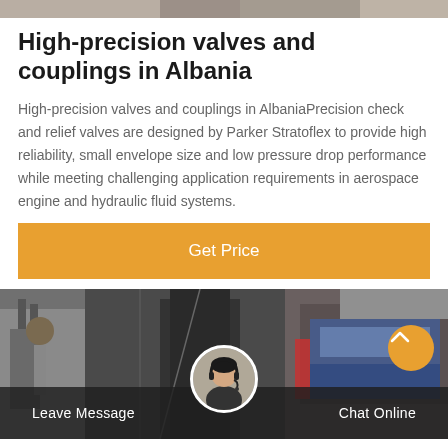[Figure (photo): Cropped top strip of an industrial/engineering photo]
High-precision valves and couplings in Albania
High-precision valves and couplings in AlbaniaPrecision check and relief valves are designed by Parker Stratoflex to provide high reliability, small envelope size and low pressure drop performance while meeting challenging application requirements in aerospace engine and hydraulic fluid systems.
[Figure (other): Orange 'Get Price' call-to-action button]
[Figure (photo): Industrial background photo with buildings and machinery; overlay footer bar with Leave Message, chat avatar, Chat Online, and scroll-up button]